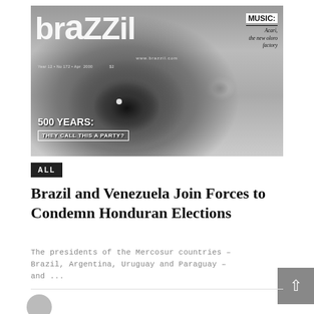[Figure (photo): Black and white magazine cover of 'brazzil' magazine showing a close-up of a person's eye and face. Contains text: 'MUSIC: Acari, the new oloro factory', 'www.brazzil.com', 'Year 12 • No 172 • Apr 2000 $2', '500 YEARS: THEY CALL THIS A PARTY?']
ALL
Brazil and Venezuela Join Forces to Condemn Honduran Elections
The presidents of the Mercosur countries – Brazil, Argentina, Uruguay and Paraguay – and ...